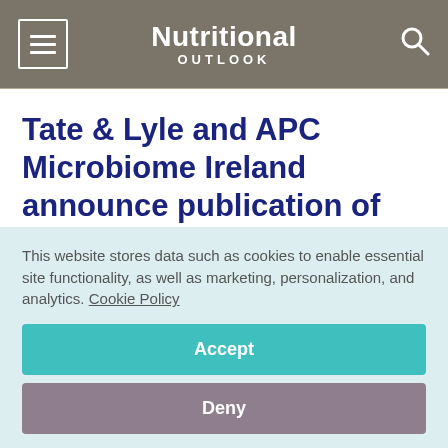Nutritional OUTLOOK
Tate & Lyle and APC Microbiome Ireland announce publication of intellectual property for symbiotic fiber
This website stores data such as cookies to enable essential site functionality, as well as marketing, personalization, and analytics. Cookie Policy
Accept
Deny